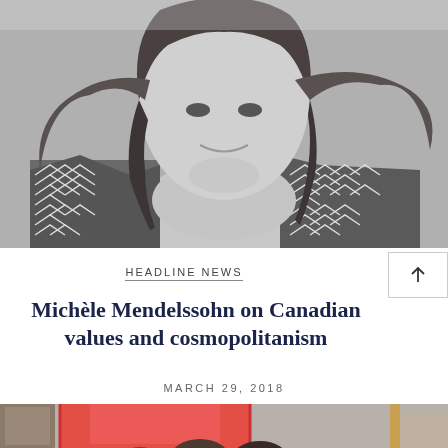[Figure (photo): Black and white close-up portrait photo of a woman with long wavy hair, smiling slightly, wearing a patterned blouse with geometric/arrow design.]
HEADLINE NEWS
Michèle Mendelssohn on Canadian values and cosmopolitanism
MARCH 29, 2018
[Figure (photo): Partial photo showing a colorful red/orange square or frame element, with people partially visible in the background, appearing to be in a gallery or indoor setting.]